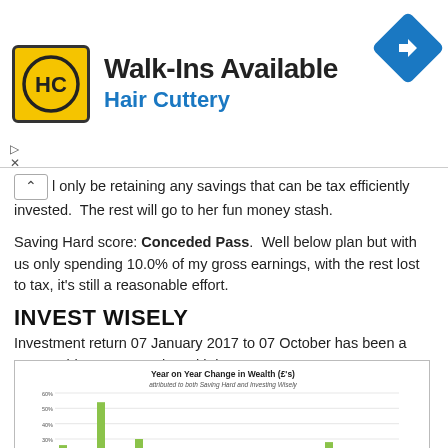[Figure (logo): Hair Cuttery advertisement banner with HC logo in yellow box, navigation arrow icon in blue diamond shape. Walk-Ins Available text with Hair Cuttery subtitle.]
l only be retaining any savings that can be tax efficiently invested.  The rest will go to her fun money stash.
Saving Hard score: Conceded Pass.  Well below plan but with us only spending 10.0% of my gross earnings, with the rest lost to tax, it's still a reasonable effort.
INVEST WISELY
Investment return 07 January 2017 to 07 October has been a reasonable 5.4%.  Total wealth is now £1,267,191 or EUR1,424,145.
[Figure (grouped-bar-chart): Year on Year Change in Wealth (£'s)]